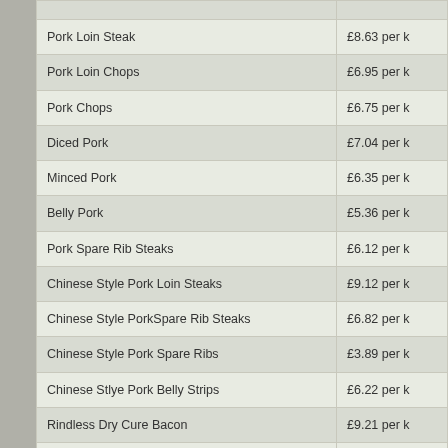| Item | Price |
| --- | --- |
| Pork Loin Steak | £8.63 per k |
| Pork Loin Chops | £6.95 per k |
| Pork Chops | £6.75 per k |
| Diced Pork | £7.04 per k |
| Minced Pork | £6.35 per k |
| Belly Pork | £5.36 per k |
| Pork Spare Rib Steaks | £6.12 per k |
| Chinese Style Pork Loin Steaks | £9.12 per k |
| Chinese Style PorkSpare Rib Steaks | £6.82 per k |
| Chinese Style Pork Spare Ribs | £3.89 per k |
| Chinese Stlye Pork Belly Strips | £6.22 per k |
| Rindless Dry Cure Bacon | £9.21 per k |
| Pork & Apple Burgers (sold by each not kg usually in 2s or 4s) | £1.00 |